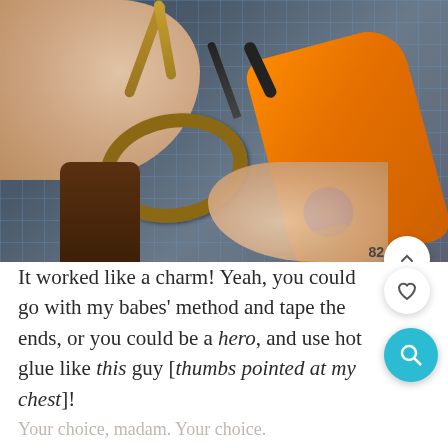[Figure (photo): Photo of hands holding a twine/rope oval loop over a cutting mat, with an orange hot glue gun and a brown object visible. Craft project in progress.]
It worked like a charm! Yeah, you could go with my babes' method and tape the ends, or you could be a hero, and use hot glue like this guy [thumbs pointed at my chest]!
Your choice, madam. Your choice.